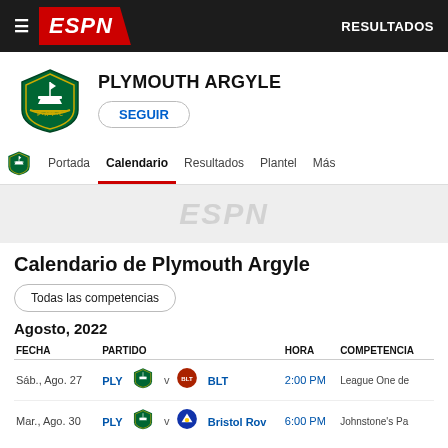ESPN — RESULTADOS
PLYMOUTH ARGYLE
SEGUIR
Portada  Calendario  Resultados  Plantel  Más
[Figure (other): ESPN watermark logo in light gray on gray background]
Calendario de Plymouth Argyle
Todas las competencias
Agosto, 2022
| FECHA | PARTIDO |  |  |  |  | HORA | COMPETENCIA |
| --- | --- | --- | --- | --- | --- | --- | --- |
| Sáb., Ago. 27 | PLY | [badge] | v | [badge] | BLT | 2:00 PM | League One de |
| Mar., Ago. 30 | PLY | [badge] | v | [badge] | Bristol Rov | 6:00 PM | Johnstone's Pa |